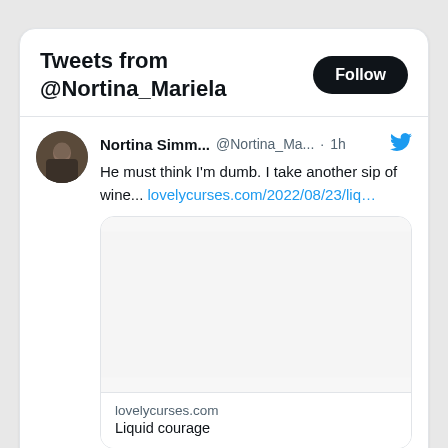Tweets from @Nortina_Mariela
Nortina Simm... @Nortina_Ma... · 1h
He must think I'm dumb. I take another sip of wine... lovelycurses.com/2022/08/23/liq…
[Figure (photo): Empty white image card placeholder]
lovelycurses.com
Liquid courage